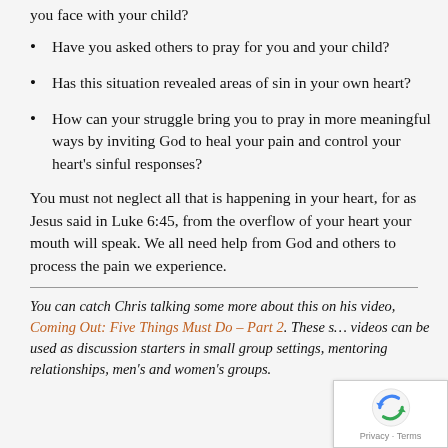you face with your child?
Have you asked others to pray for you and your child?
Has this situation revealed areas of sin in your own heart?
How can your struggle bring you to pray in more meaningful ways by inviting God to heal your pain and control your heart's sinful responses?
You must not neglect all that is happening in your heart, for as Jesus said in Luke 6:45, from the overflow of your heart your mouth will speak. We all need help from God and others to process the pain we experience.
You can catch Chris talking some more about this on his video, Coming Out: Five Things Must Do – Part 2. These s… videos can be used as discussion starters in small group settings, mentoring relationships, men's and women's groups.